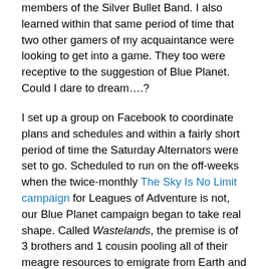members of the Silver Bullet Band. I also learned within that same period of time that two other gamers of my acquaintance were looking to get into a game. They too were receptive to the suggestion of Blue Planet. Could I dare to dream….?
I set up a group on Facebook to coordinate plans and schedules and within a fairly short period of time the Saturday Alternators were set to go. Scheduled to run on the off-weeks when the twice-monthly The Sky Is No Limit campaign for Leagues of Adventure is not, our Blue Planet campaign began to take real shape. Called Wastelands, the premise is of 3 brothers and 1 cousin pooling all of their meagre resources to emigrate from Earth and restart their lives with the promise of a new beginning on this 'off-world colony'. Drawing from the desperate imagery of a dying world from Blade Runner, the naïve ambition of